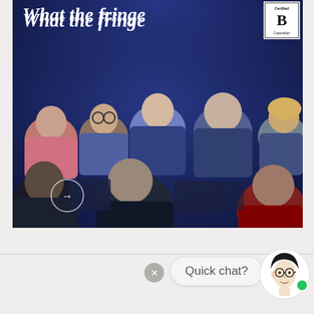[Figure (photo): Audience members seen from behind, seated in a dark auditorium with blue lighting, looking toward a presentation. A white circular arrow button is visible in the lower left of the image. A Certified B Corporation badge appears in the top right corner.]
What the fringe
[Figure (screenshot): Chat widget showing a close button (X), a speech bubble with 'Quick chat?' text, and an illustrated avatar of a person with glasses and a green online indicator dot.]